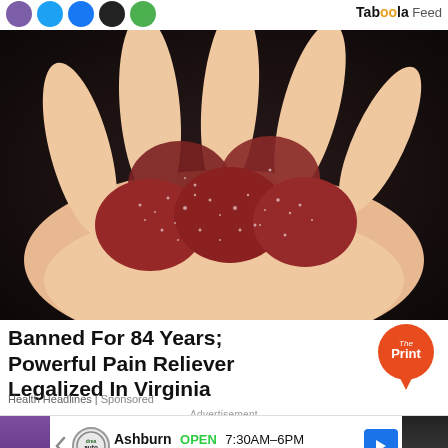[Figure (other): Social media share icon circles (purple, blue, blue, black, green) at top left]
Taboola Feed
[Figure (photo): Close-up photo of a hand holding several dark red sugar-coated gummy candies against a dark background]
Banned For 84 Years; Powerful Pain Reliever Legalized In Virginia
[Figure (logo): The Print orange circular logo]
Health Headlines | Sponsored
Advertisement
[Figure (screenshot): Advertisement banner: Ashburn OPEN 7:30AM-6PM, 43781 Parkhurst Plaza, Ashburn with auto service logo and navigation arrow]